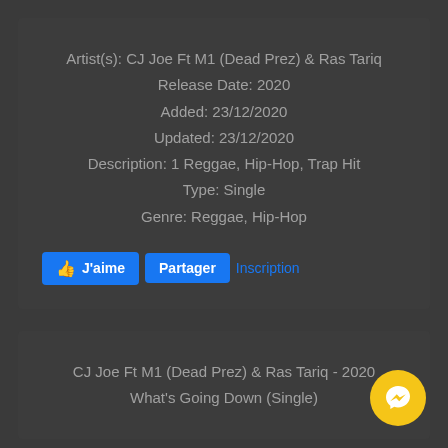Artist(s): CJ Joe Ft M1 (Dead Prez) & Ras Tariq
Release Date: 2020
Added: 23/12/2020
Updated: 23/12/2020
Description: 1 Reggae, Hip-Hop, Trap Hit
Type: Single
Genre: Reggae, Hip-Hop
J'aime | Partager | Inscription
CJ Joe Ft M1 (Dead Prez) & Ras Tariq - 2020
What's Going Down (Single)